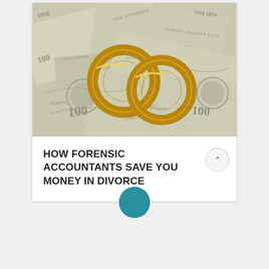[Figure (photo): Photo of two gold wedding rings resting on a spread of US one hundred dollar bills, shown in grayscale/monochrome with the rings in gold color.]
HOW FORENSIC ACCOUNTANTS SAVE YOU MONEY IN DIVORCE